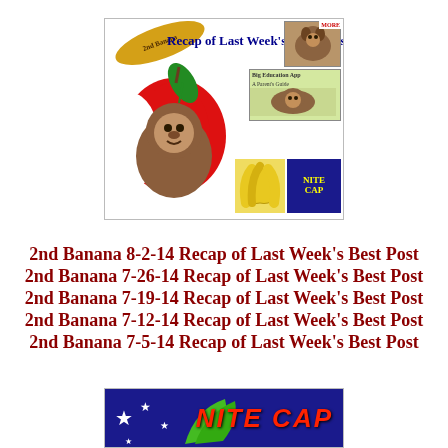[Figure (illustration): Collage image showing '2nd Banana Recap of Last Week's Best Posts' with an orangutan sitting in a red apple graphic, banana shape with label, dog photo, banana bunch, and NITE CAP thumbnails arranged in a grid]
2nd Banana 8-2-14 Recap of Last Week's Best Post
2nd Banana 7-26-14 Recap of Last Week's Best Post
2nd Banana 7-19-14 Recap of Last Week's Best Post
2nd Banana 7-12-14 Recap of Last Week's Best Post
2nd Banana 7-5-14 Recap of Last Week's Best Post
[Figure (illustration): Bottom portion of NITE CAP banner with blue starry background, green banana shape, and red NITE CAP text]